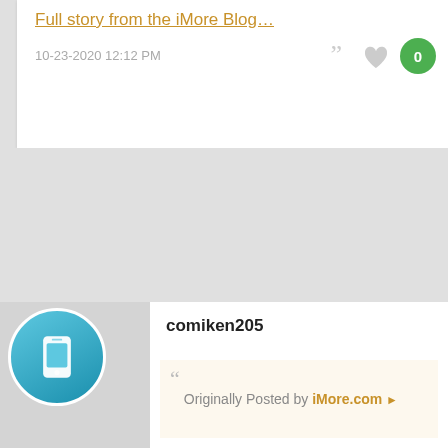Full story from the iMore Blog...
10-23-2020 12:12 PM
comiken205
Originally Posted by iMore.com ▶